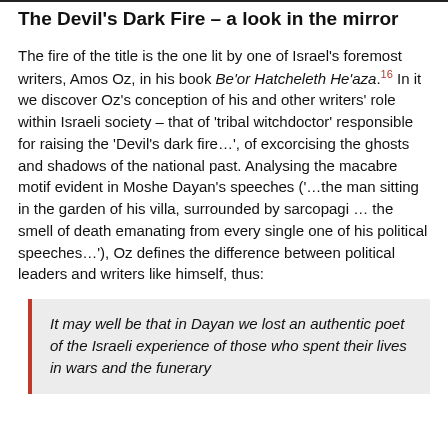The Devil's Dark Fire – a look in the mirror
The fire of the title is the one lit by one of Israel's foremost writers, Amos Oz, in his book Be'or Hatcheleth He'aza.¹⁶ In it we discover Oz's conception of his and other writers' role within Israeli society – that of 'tribal witchdoctor' responsible for raising the 'Devil's dark fire…', of excorcising the ghosts and shadows of the national past. Analysing the macabre motif evident in Moshe Dayan's speeches ('…the man sitting in the garden of his villa, surrounded by sarcopagi … the smell of death emanating from every single one of his political speeches…'), Oz defines the difference between political leaders and writers like himself, thus:
It may well be that in Dayan we lost an authentic poet of the Israeli experience of those who spent their lives in wars and the funerary